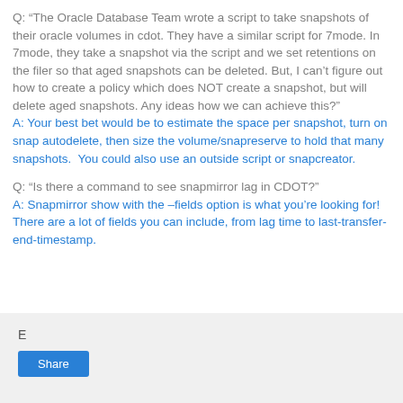Q: “The Oracle Database Team wrote a script to take snapshots of their oracle volumes in cdot. They have a similar script for 7mode. In 7mode, they take a snapshot via the script and we set retentions on the filer so that aged snapshots can be deleted. But, I can’t figure out how to create a policy which does NOT create a snapshot, but will delete aged snapshots. Any ideas how we can achieve this?”
A: Your best bet would be to estimate the space per snapshot, turn on snap autodelete, then size the volume/snapreserve to hold that many snapshots.  You could also use an outside script or snapcreator.
Q: “Is there a command to see snapmirror lag in CDOT?”
A: Snapmirror show with the –fields option is what you’re looking for!  There are a lot of fields you can include, from lag time to last-transfer-end-timestamp.
E
Share